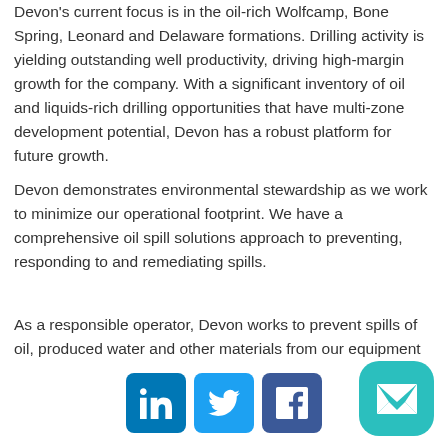Devon's current focus is in the oil-rich Wolfcamp, Bone Spring, Leonard and Delaware formations. Drilling activity is yielding outstanding well productivity, driving high-margin growth for the company. With a significant inventory of oil and liquids-rich drilling opportunities that have multi-zone development potential, Devon has a robust platform for future growth.
Devon demonstrates environmental stewardship as we work to minimize our operational footprint. We have a comprehensive oil spill solutions approach to preventing, responding to and remediating spills.
As a responsible operator, Devon works to prevent spills of oil, produced water and other materials from our equipment and facilities. Our environmental-management prog...
[Figure (other): Social media icons bar: LinkedIn (blue), Twitter (light blue), Facebook (dark blue), and a teal email button at bottom right]